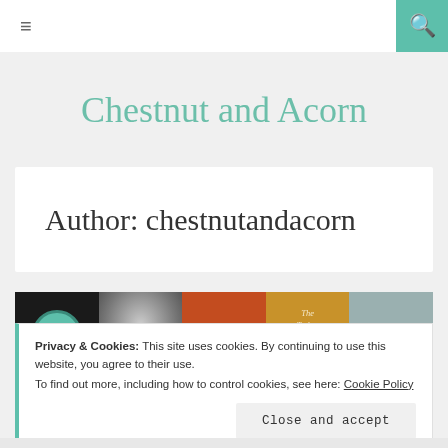≡  🔍
Chestnut and Acorn
Author: chestnutandacorn
[Figure (photo): A horizontal strip of five album covers side by side]
Privacy & Cookies: This site uses cookies. By continuing to use this website, you agree to their use.
To find out more, including how to control cookies, see here: Cookie Policy
Close and accept